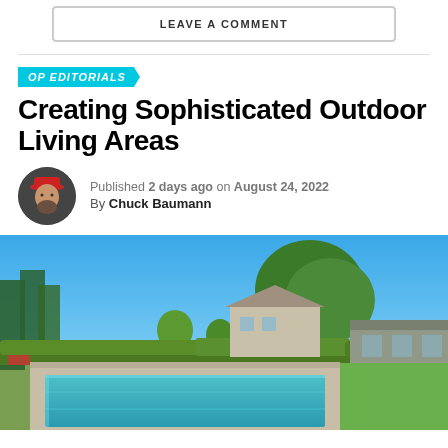LEAVE A COMMENT
OP EDITORIALS
Creating Sophisticated Outdoor Living Areas
Published 2 days ago on August 24, 2022
By Chuck Baumann
[Figure (photo): Outdoor living area featuring a long rectangular swimming pool surrounded by manicured hedges and trees, with a residential house and bright blue sky in the background.]